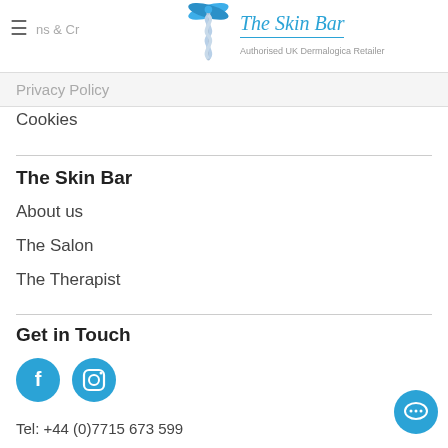The Skin Bar — Authorised UK Dermalogica Retailer
Privacy Policy
Cookies
The Skin Bar
About us
The Salon
The Therapist
Get in Touch
[Figure (other): Facebook and Instagram social media icon buttons (blue circles)]
Tel: +44 (0)7715 673 599